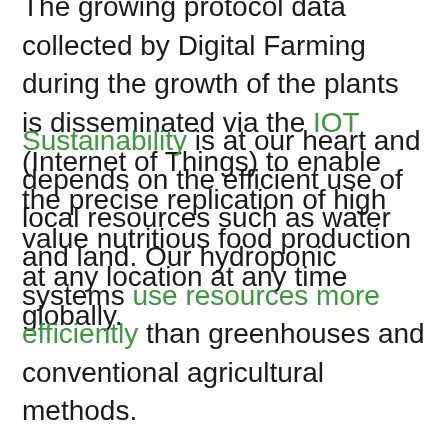The growing protocol data collected by Digital Farming during the growth of the plants is disseminated via the IOT (Internet of Things) to enable the precise replication of high value nutritious food production at any location at any time globally.
Sustainability is at our heart and depends on the efficient use of local resources such as water and land. Our hydroponic systems use resources more efficiently than greenhouses and conventional agricultural methods.